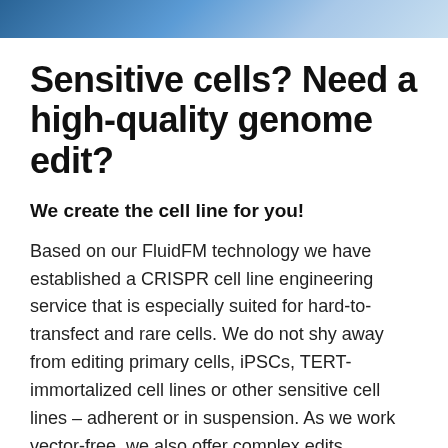[Figure (other): Blue gradient decorative header bar at the top of the page]
Sensitive cells? Need a high-quality genome edit?
We create the cell line for you!
Based on our FluidFM technology we have established a CRISPR cell line engineering service that is especially suited for hard-to-transfect and rare cells. We do not shy away from editing primary cells, iPSCs, TERT-immortalized cell lines or other sensitive cell lines – adherent or in suspension. As we work vector-free, we also offer complex edits…